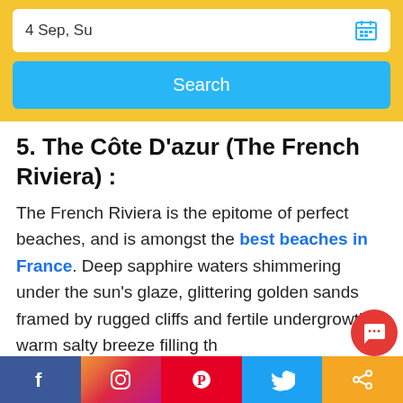[Figure (screenshot): Date input field showing '4 Sep, Su' with a calendar icon, inside a yellow search widget with a blue Search button]
5. The Côte D'azur (The French Riviera) :
The French Riviera is the epitome of perfect beaches, and is amongst the best beaches in France. Deep sapphire waters shimmering under the sun's glaze, glittering golden sands framed by rugged cliffs and fertile undergrowth, warm salty breeze filling th…
[Figure (infographic): Social media share bar at bottom: Facebook, Instagram, Pinterest, Twitter, Share buttons. Red chat bubble icon lower right.]